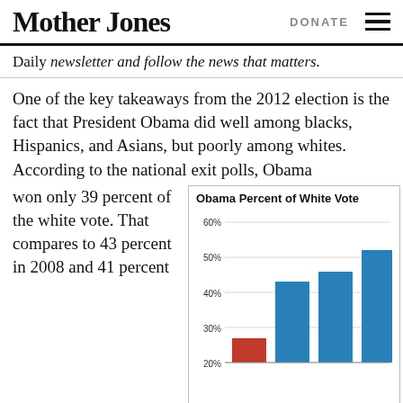Mother Jones | DONATE
Daily newsletter and follow the news that matters.
One of the key takeaways from the 2012 election is the fact that President Obama did well among blacks, Hispanics, and Asians, but poorly among whites. According to the national exit polls, Obama won only 39 percent of the white vote. That compares to 43 percent in 2008 and 41 percent
[Figure (bar-chart): Obama Percent of White Vote]